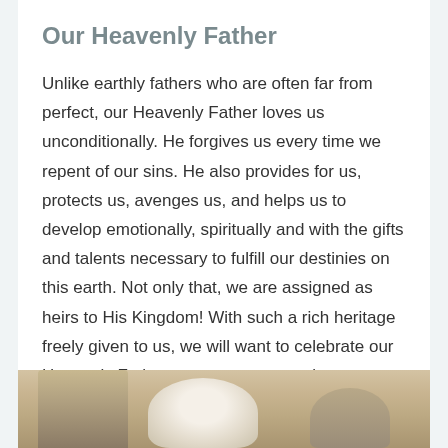Our Heavenly Father
Unlike earthly fathers who are often far from perfect, our Heavenly Father loves us unconditionally. He forgives us every time we repent of our sins. He also provides for us, protects us, avenges us, and helps us to develop emotionally, spiritually and with the gifts and talents necessary to fulfill our destinies on this earth. Not only that, we are assigned as heirs to His Kingdom! With such a rich heritage freely given to us, we will want to celebrate our Heavenly Father not once per year, but every day! Amen.
[Figure (photo): A sepia-toned photograph of an elderly person, partially visible at the bottom of the page, showing clothing and a light-colored head.]